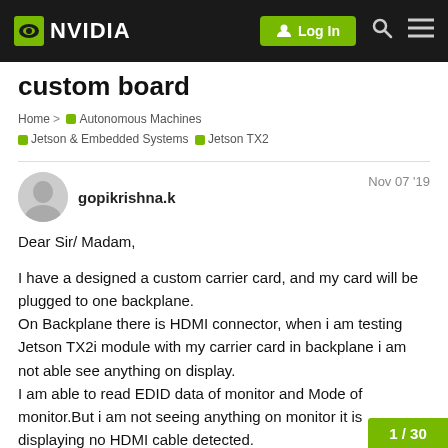NVIDIA — Log In
custom board
Home > Autonomous Machines > Jetson & Embedded Systems > Jetson TX2
gopikrishna.k
Nov 07 '19
Dear Sir/ Madam,

I have a designed a custom carrier card, and my card will be plugged to one backplane.
On Backplane there is HDMI connector, when i am testing Jetson TX2i module with my carrier card in backplane i am not able see anything on display.
I am able to read EDID data of monitor and Mode of monitor.But i am not seeing anything on monitor it is displaying no HDMI cable detected.
Can you please help me in further debugging.